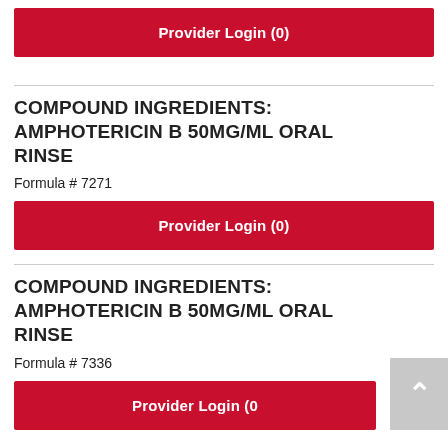[Figure (other): Red Provider Login (0) button]
COMPOUND INGREDIENTS: AMPHOTERICIN B 50MG/ML ORAL RINSE
Formula # 7271
[Figure (other): Red Provider Login (0) button]
COMPOUND INGREDIENTS: AMPHOTERICIN B 50MG/ML ORAL RINSE
Formula # 7336
[Figure (other): Red Provider Login (0) button (partially visible)]